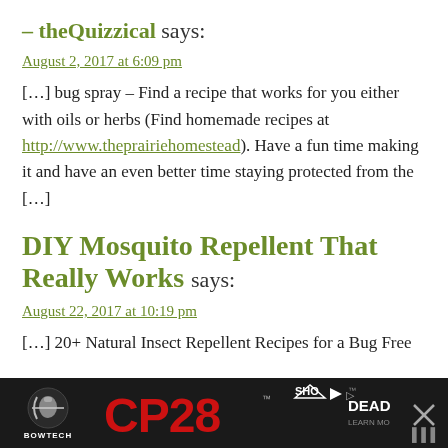– theQuizzical says:
August 2, 2017 at 6:09 pm
[…] bug spray – Find a recipe that works for you either with oils or herbs (Find homemade recipes at http://www.theprairiehomestead). Have a fun time making it and have an even better time staying protected from the […]
DIY Mosquito Repellent That Really Works says:
August 22, 2017 at 10:19 pm
[…] 20+ Natural Insect Repellent Recipes for a Bug Free Su…
[Figure (other): Advertisement banner for Bowtech CP28 bow. Dark background with Bowtech logo on left, large red CP28 text in center, SHO DEADLIER text on right with close button.]